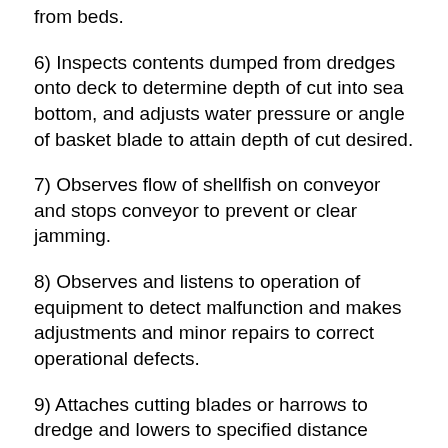from beds.
6) Inspects contents dumped from dredges onto deck to determine depth of cut into sea bottom, and adjusts water pressure or angle of basket blade to attain depth of cut desired.
7) Observes flow of shellfish on conveyor and stops conveyor to prevent or clear jamming.
8) Observes and listens to operation of equipment to detect malfunction and makes adjustments and minor repairs to correct operational defects.
9) Attaches cutting blades or harrows to dredge and lowers to specified distance above or on sea bottom